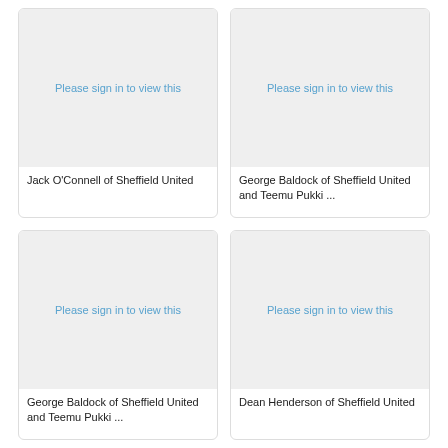[Figure (photo): Placeholder image with sign-in overlay for Jack O'Connell of Sheffield United]
Jack O'Connell of Sheffield United
[Figure (photo): Placeholder image with sign-in overlay for George Baldock of Sheffield United and Teemu Pukki]
George Baldock of Sheffield United and Teemu Pukki ...
[Figure (photo): Placeholder image with sign-in overlay for George Baldock of Sheffield United and Teemu Pukki]
George Baldock of Sheffield United and Teemu Pukki ...
[Figure (photo): Placeholder image with sign-in overlay for Dean Henderson of Sheffield United]
Dean Henderson of Sheffield United